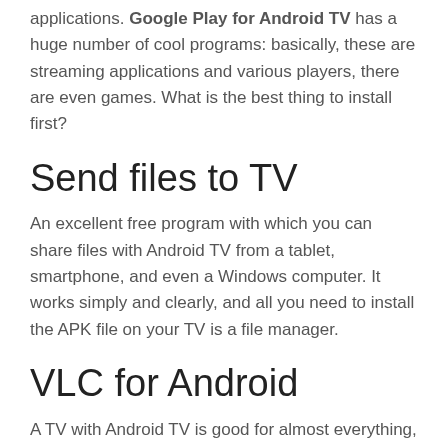applications. Google Play for Android TV has a huge number of cool programs: basically, these are streaming applications and various players, there are even games. What is the best thing to install first?
Send files to TV
An excellent free program with which you can share files with Android TV from a tablet, smartphone, and even a Windows computer. It works simply and clearly, and all you need to install the APK file on your TV is a file manager.
VLC for Android
A TV with Android TV is good for almost everything, except for the built-in multimedia player. The player